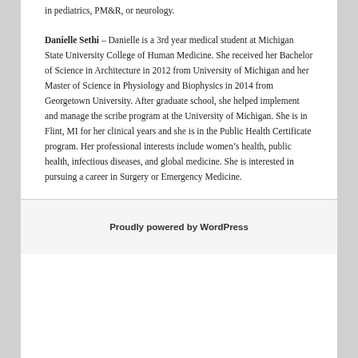in pediatrics, PM&R, or neurology.
Danielle Sethi – Danielle is a 3rd year medical student at Michigan State University College of Human Medicine. She received her Bachelor of Science in Architecture in 2012 from University of Michigan and her Master of Science in Physiology and Biophysics in 2014 from Georgetown University. After graduate school, she helped implement and manage the scribe program at the University of Michigan. She is in Flint, MI for her clinical years and she is in the Public Health Certificate program. Her professional interests include women's health, public health, infectious diseases, and global medicine. She is interested in pursuing a career in Surgery or Emergency Medicine.
Proudly powered by WordPress